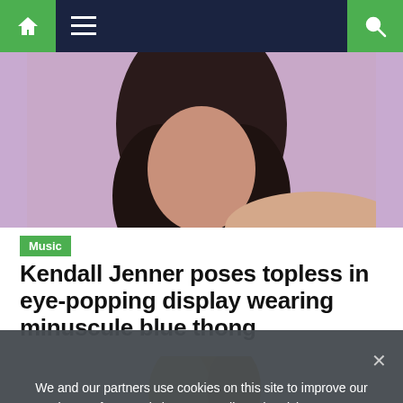Navigation bar with home, menu, and search icons
[Figure (photo): Partial photo of a woman with dark hair against a purple/lavender background, cropped at top of page]
Music
Kendall Jenner poses topless in eye-popping display wearing minuscule blue thong
[Figure (photo): Blonde woman at what appears to be a media event, with colorful 'sky' logo signage in background including red E! logo]
We and our partners use cookies on this site to improve our service, perform analytics, personalize advertising, measure advertising performance, and remember website preferences.
Ok